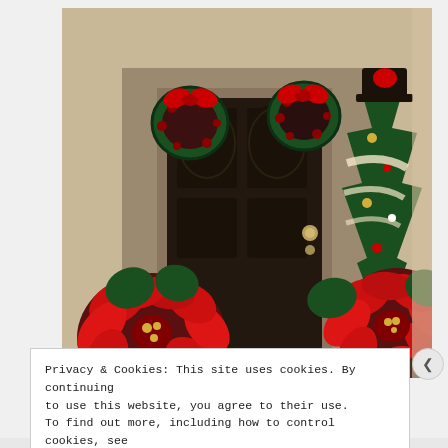[Figure (photo): A house front door decorated for Christmas with red poinsettia plants, christmas wreaths with red bows on the door, and a decorated Christmas tree beside the door. The door is dark brown/black with ornate ironwork.]
Privacy & Cookies: This site uses cookies. By continuing to use this website, you agree to their use.
To find out more, including how to control cookies, see here: Cookie Policy
Close and accept